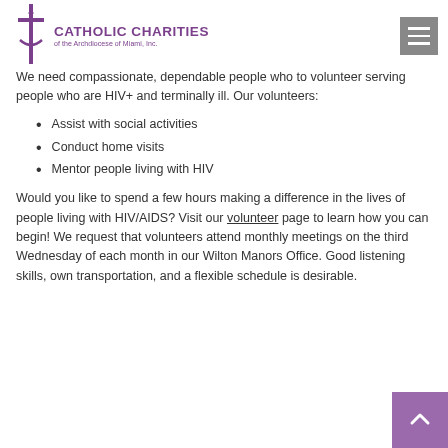Catholic Charities of the Archdiocese of Miami, Inc.
We need compassionate, dependable people who to volunteer serving people who are HIV+ and terminally ill. Our volunteers:
Assist with social activities
Conduct home visits
Mentor people living with HIV
Would you like to spend a few hours making a difference in the lives of people living with HIV/AIDS? Visit our volunteer page to learn how you can begin! We request that volunteers attend monthly meetings on the third Wednesday of each month in our Wilton Manors Office. Good listening skills, own transportation, and a flexible schedule is desirable.